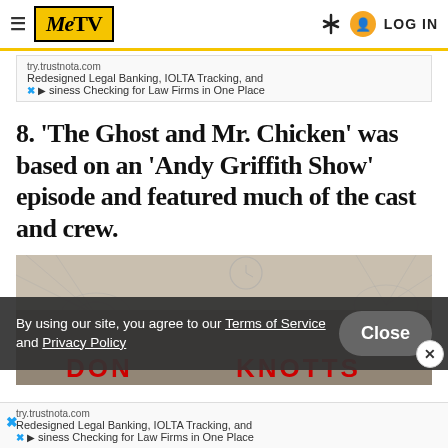MeTV
Redesigned Legal Banking, IOLTA Tracking, and Business Checking for Law Firms in One Place
8. 'The Ghost and Mr. Chicken' was based on an 'Andy Griffith Show' episode and featured much of the cast and crew.
[Figure (photo): Movie poster or promotional image for The Ghost and Mr. Chicken featuring Don Knotts, with spider web imagery and red text at the bottom reading 'DON KNOTTS']
By using our site, you agree to our Terms of Service and Privacy Policy
Redesigned Legal Banking, IOLTA Tracking, and Business Checking for Law Firms in One Place